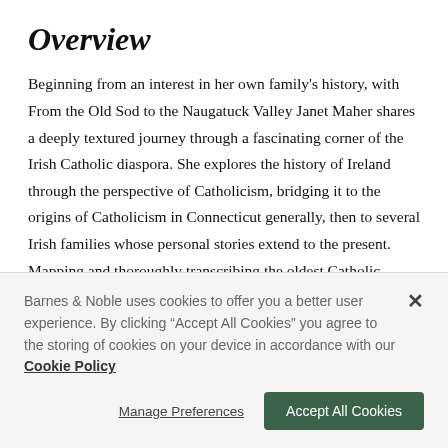Overview
Beginning from an interest in her own family's history, with From the Old Sod to the Naugatuck Valley Janet Maher shares a deeply textured journey through a fascinating corner of the Irish Catholic diaspora. She explores the history of Ireland through the perspective of Catholicism, bridging it to the origins of Catholicism in Connecticut generally, then to several Irish families whose personal stories extend to the present. Mapping and thoroughly transcribing the oldest Catholic cemetery in Naugatuck, Saint Francis, Maher has made connections
Barnes & Noble uses cookies to offer you a better user experience. By clicking "Accept All Cookies" you agree to the storing of cookies on your device in accordance with our Cookie Policy